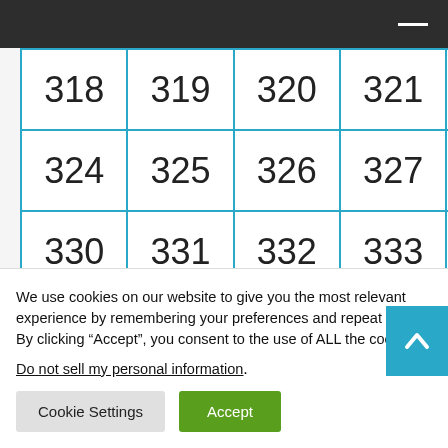| 318 | 319 | 320 | 321 | 322 | 323 |
| 324 | 325 | 326 | 327 | 328 | 329 |
| 330 | 331 | 332 | 333 | 334 | 335 |
| 336 | 337 | 338 | 339 | 340 | 341 |
| 342 | 343 | 344 | 345 | 346 | 347 |
We use cookies on our website to give you the most relevant experience by remembering your preferences and repeat visits. By clicking “Accept”, you consent to the use of ALL the cookies.
Do not sell my personal information.
Cookie Settings  Accept